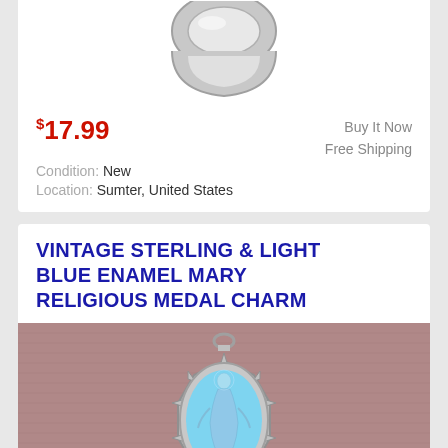[Figure (photo): Partial product image of a silver ring/charm, cropped at top, shown on white background]
$17.99
Buy It Now
Free Shipping
Condition: New
Location: Sumter, United States
VINTAGE STERLING & LIGHT BLUE ENAMEL MARY RELIGIOUS MEDAL CHARM
[Figure (photo): Photo of a vintage sterling silver and light blue enamel Mary religious medal charm on a mauve/pink fabric background. The charm features an ornate silver frame with an oval light blue enamel center depicting the Virgin Mary figure, with a small loop at the top for attaching to a chain.]